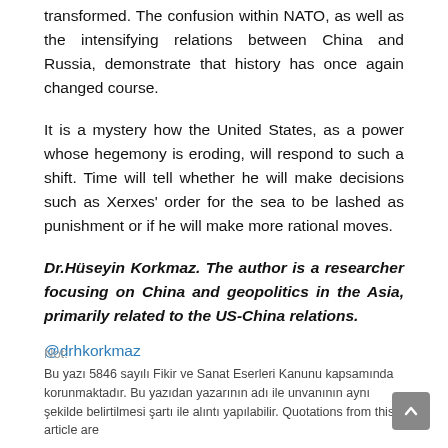transformed. The confusion within NATO, as well as the intensifying relations between China and Russia, demonstrate that history has once again changed course.
It is a mystery how the United States, as a power whose hegemony is eroding, will respond to such a shift. Time will tell whether he will make decisions such as Xerxes' order for the sea to be lashed as punishment or if he will make more rational moves.
Dr.Hüseyin Korkmaz. The author is a researcher focusing on China and geopolitics in the Asia, primarily related to the US-China relations.
@drhkorkmaz
Not:
Bu yazı 5846 sayılı Fikir ve Sanat Eserleri Kanunu kapsamında korunmaktadır. Bu yazıdan yazarının adı ile unvanının aynı şekilde belirtilmesi şartı ile alıntı yapılabilir. Quotations from this article are